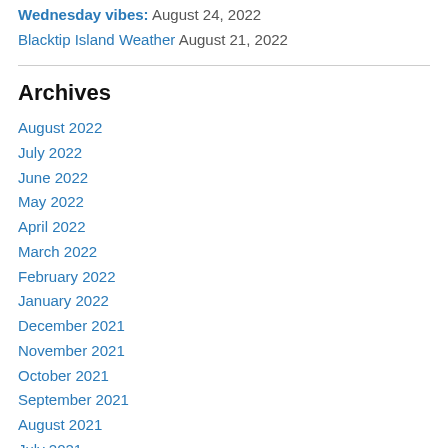Wednesday vibes: August 24, 2022
Blacktip Island Weather August 21, 2022
Archives
August 2022
July 2022
June 2022
May 2022
April 2022
March 2022
February 2022
January 2022
December 2021
November 2021
October 2021
September 2021
August 2021
July 2021